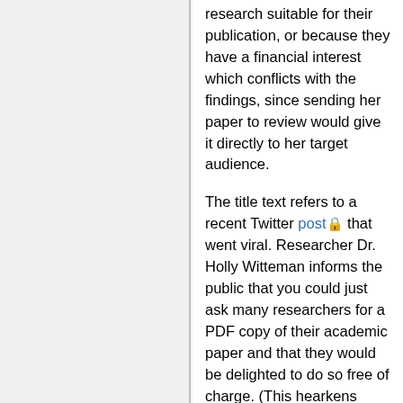research suitable for their publication, or because they have a financial interest which conflicts with the findings, since sending her paper to review would give it directly to her target audience.
The title text refers to a recent Twitter post 🔒 that went viral. Researcher Dr. Holly Witteman informs the public that you could just ask many researchers for a PDF copy of their academic paper and that they would be delighted to do so free of charge. (This hearkens back to the days of snailmail, when researchers would distribute printed copies, "reprints", of their work for, at most, the price of a self-addressed stamped envelope.) She has additionally